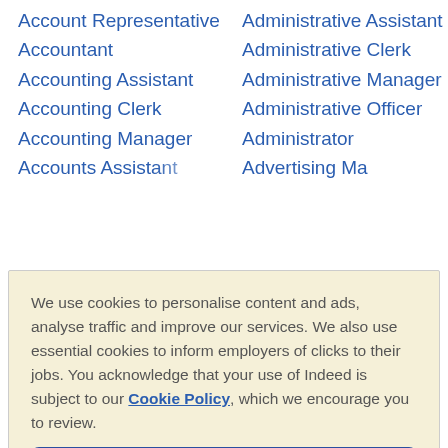Account Representative
Accountant
Accounting Assistant
Accounting Clerk
Accounting Manager
Accounts Assistant (partial)
Administrative Assistant
Administrative Clerk
Administrative Manager
Administrative Officer
Administrator
Advertising M... (partial)
We use cookies to personalise content and ads, analyse traffic and improve our services. We also use essential cookies to inform employers of clicks to their jobs. You acknowledge that your use of Indeed is subject to our Cookie Policy, which we encourage you to review.
Cookies Settings
Reject All
Accept All Cookies